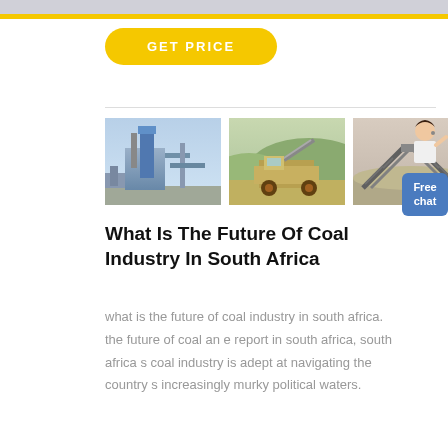[Figure (illustration): GET PRICE yellow button]
[Figure (photo): Three industrial/mining photos side by side: industrial plant with blue equipment, mining machinery, and conveyor structure]
[Figure (illustration): Customer service person with Free chat button]
What Is The Future Of Coal Industry In South Africa
what is the future of coal industry in south africa. the future of coal an e report in south africa, south africa s coal industry is adept at navigating the country s increasingly murky political waters.